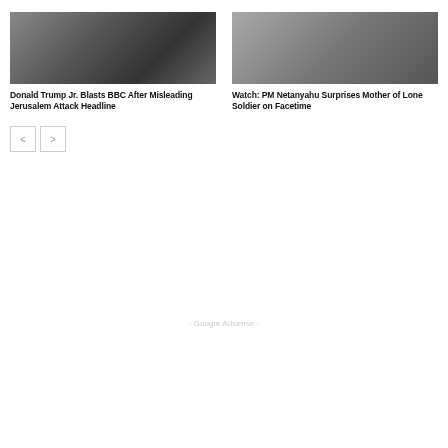[Figure (photo): Photo of Donald Trump Jr. at a podium with microphone, raising his hand]
Donald Trump Jr. Blasts BBC After Misleading Jerusalem Attack Headline
[Figure (photo): Photo of PM Netanyahu with a woman, possibly mother of a lone soldier]
Watch: PM Netanyahu Surprises Mother of Lone Soldier on Facetime
- Google Adsense -